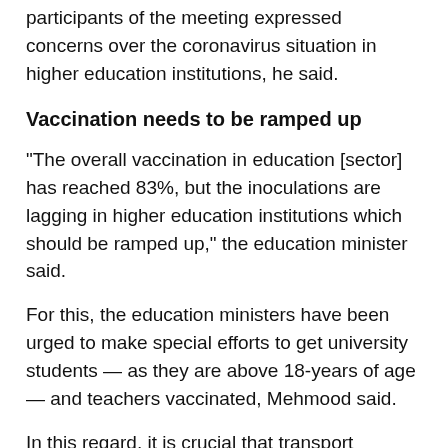participants of the meeting expressed concerns over the coronavirus situation in higher education institutions, he said.
Vaccination needs to be ramped up
"The overall vaccination in education [sector] has reached 83%, but the inoculations are lagging in higher education institutions which should be ramped up," the education minister said.
For this, the education ministers have been urged to make special efforts to get university students — as they are above 18-years of age — and teachers vaccinated, Mehmood said.
In this regard, it is crucial that transport personnel get vaccinated and a deadline of August 31 has already been set for them, the education minister said.